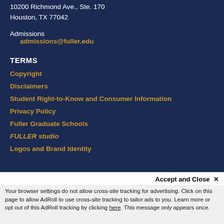10200 Richmond Ave., Ste. 170
Houston, TX 77042
Admissions
admissions@fuller.edu
TERMS
Copyright
Disclaimers
Student Right-to-Know and Consumer Information
Privacy Policy
Fuller Graduate Schools
FULLER studio
Logos and Brand Identity
Accept and Close ✕
Your browser settings do not allow cross-site tracking for advertising. Click on this page to allow AdRoll to use cross-site tracking to tailor ads to you. Learn more or opt out of this AdRoll tracking by clicking here. This message only appears once.